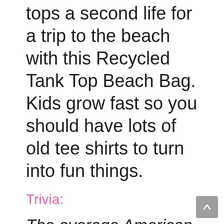tops a second life for a trip to the beach with this Recycled Tank Top Beach Bag. Kids grow fast so you should have lots of old tee shirts to turn into fun things.
Trivia:
The average American throws out about 82 pounds of textile waste per year. That's 11 million tons of waste produced every year by just the United States alone. Source: Planet Aid – 8